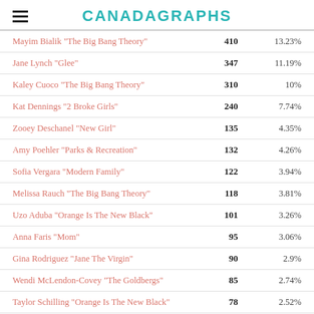CANADAGRAPHS
| Name | Votes | Percentage |
| --- | --- | --- |
| Mayim Bialik "The Big Bang Theory" | 410 | 13.23% |
| Jane Lynch "Glee" | 347 | 11.19% |
| Kaley Cuoco "The Big Bang Theory" | 310 | 10% |
| Kat Dennings "2 Broke Girls" | 240 | 7.74% |
| Zooey Deschanel "New Girl" | 135 | 4.35% |
| Amy Poehler "Parks & Recreation" | 132 | 4.26% |
| Sofia Vergara "Modern Family" | 122 | 3.94% |
| Melissa Rauch "The Big Bang Theory" | 118 | 3.81% |
| Uzo Aduba "Orange Is The New Black" | 101 | 3.26% |
| Anna Faris "Mom" | 95 | 3.06% |
| Gina Rodriguez "Jane The Virgin" | 90 | 2.9% |
| Wendi McLendon-Covey "The Goldbergs" | 85 | 2.74% |
| Taylor Schilling "Orange Is The New Black" | 78 | 2.52% |